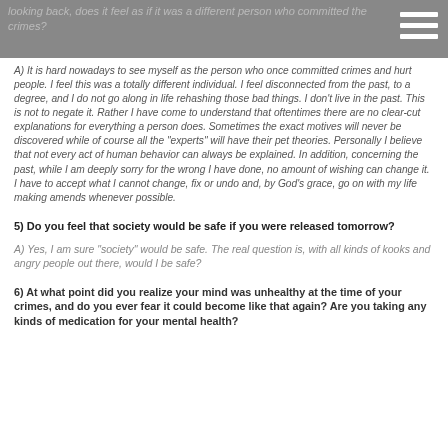looking back, does it feel as if it was a different person who committed the crimes?
A) It is hard nowadays to see myself as the person who once committed crimes and hurt people. I feel this was a totally different individual. I feel disconnected from the past, to a degree, and I do not go along in life rehashing those bad things. I don't live in the past. This is not to negate it. Rather I have come to understand that oftentimes there are no clear-cut explanations for everything a person does. Sometimes the exact motives will never be discovered while of course all the "experts" will have their pet theories. Personally I believe that not every act of human behavior can always be explained. In addition, concerning the past, while I am deeply sorry for the wrong I have done, no amount of wishing can change it. I have to accept what I cannot change, fix or undo and, by God's grace, go on with my life making amends whenever possible.
5) Do you feel that society would be safe if you were released tomorrow?
A) Yes, I am sure "society" would be safe. The real question is, with all kinds of kooks and angry people out there, would I be safe?
6) At what point did you realize your mind was unhealthy at the time of your crimes, and do you ever fear it could become like that again? Are you taking any kinds of medication for your mental health?